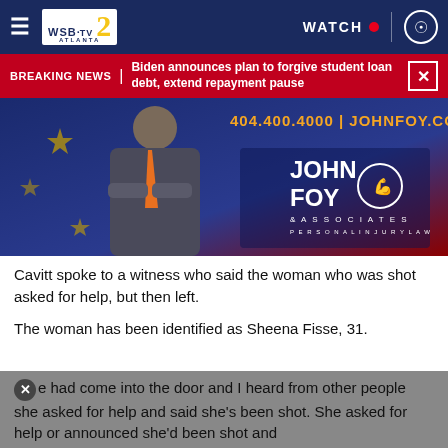WSB-TV 2 ATLANTA | WATCH | user icon
BREAKING NEWS | Biden announces plan to forgive student loan debt, extend repayment pause
[Figure (photo): Advertisement for John Foy & Associates Personal Injury Law showing a man in a suit with crossed arms, phone number 404.400.4000 | JOHNFOY.COM, and patriotic background with stars]
Cavitt spoke to a witness who said the woman who was shot asked for help, but then left.
The woman has been identified as Sheena Fisse, 31.
"e had come into the door and I heard from other people she asked for help and said she's been shot. She asked for help or announced she'd been shot and